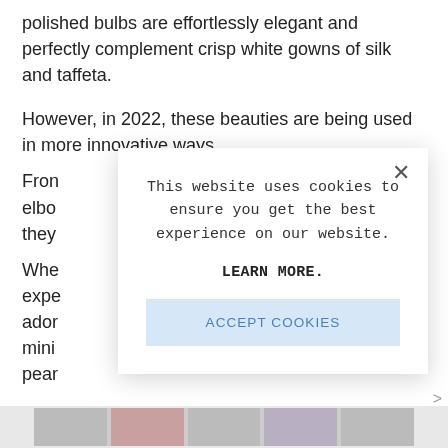polished bulbs are effortlessly elegant and perfectly complement crisp white gowns of silk and taffeta.
However, in 2022, these beauties are being used in more innovative ways.
From [partially obscured by modal]
Whe[partially obscured by modal]
[Figure (screenshot): Cookie consent modal dialog overlaid on article text. Modal contains text: 'This website uses cookies to ensure you get the best experience on our website.' followed by 'LEARN MORE.' in bold and an 'ACCEPT COOKIES' button in light blue. An X close button is in the top-right corner of the modal.]
[Figure (photo): Partial image strip at bottom of page showing thumbnail images]